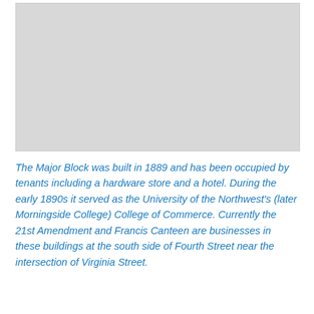[Figure (photo): Photograph placeholder — grey rectangle representing an image of the Major Block building]
The Major Block was built in 1889 and has been occupied by tenants including a hardware store and a hotel. During the early 1890s it served as the University of the Northwest's (later Morningside College) College of Commerce. Currently the 21st Amendment and Francis Canteen are businesses in these buildings at the south side of Fourth Street near the intersection of Virginia Street.